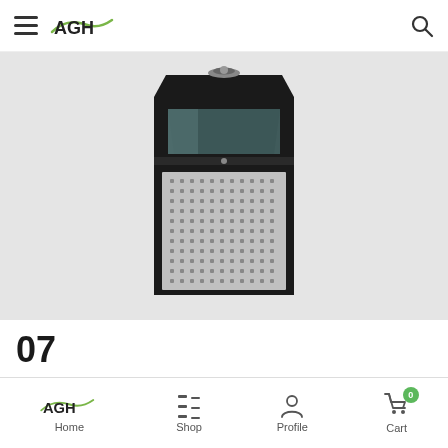AGH (navigation bar with hamburger menu and search icon)
[Figure (photo): A black metal outdoor trash can with perforated silver/grey panel sides and an ashtray on top, photographed on a light grey background.]
07
AGH Trash Can Liner
Believe it or not, a trash can liner is an hotelier's best friend. A
Home  Shop  Profile  Cart  0